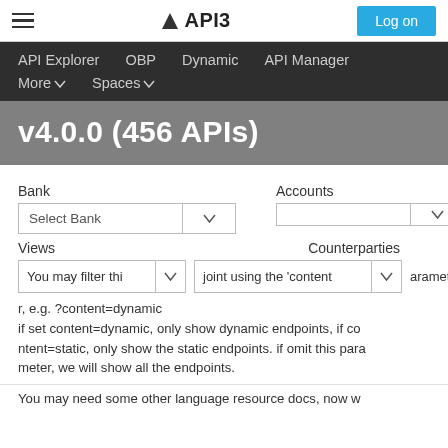API3  Log on
API Explorer   OBP   Dynamic   API Manager   More ∨   Spaces ∨
v4.0.0 (456 APIs)
Bank   Accounts   Select Bank ∨   Views   Counterparties
You may filter thi ∨ joint using the 'content ∨ arameter, e.g. ?content=dynamic if set content=dynamic, only show dynamic endpoints, if content=static, only show the static endpoints. if omit this parameter, we will show all the endpoints.
You may need some other language resource docs, now w